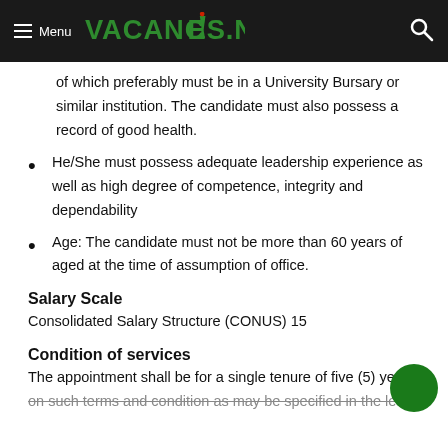Menu | VACANCIES.NG
of which preferably must be in a University Bursary or similar institution. The candidate must also possess a record of good health.
He/She must possess adequate leadership experience as well as high degree of competence, integrity and dependability
Age: The candidate must not be more than 60 years of aged at the time of assumption of office.
Salary Scale
Consolidated Salary Structure (CONUS) 15
Condition of services
The appointment shall be for a single tenure of five (5) years on such terms and condition as may be specified in the letter